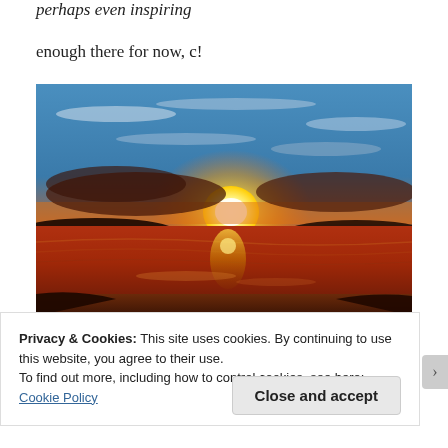perhaps even inspiring
enough there for now, c!
[Figure (photo): A dramatic beach sunset photo showing a bright sun low on the horizon with orange and yellow glow reflecting on wet sand and gentle waves, dark silhouetted land masses on the sides, and a blue sky with clouds above.]
Privacy & Cookies: This site uses cookies. By continuing to use this website, you agree to their use.
To find out more, including how to control cookies, see here: Cookie Policy
Close and accept